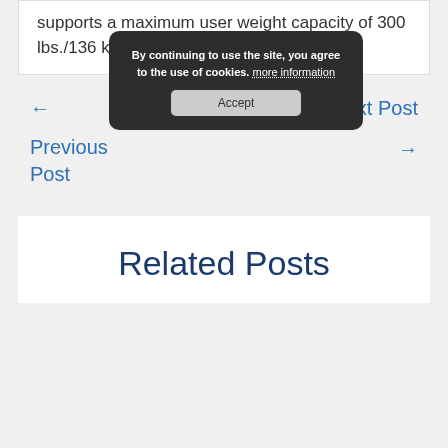supports a maximum user weight capacity of 300 lbs./136 kg.
By continuing to use the site, you agree to the use of cookies. more information Accept
← Next Post
Previous Post →
Related Posts